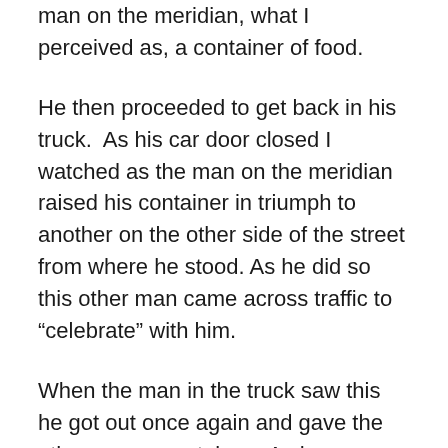man on the meridian, what I perceived as, a container of food.
He then proceeded to get back in his truck.  As his car door closed I watched as the man on the meridian raised his container in triumph to another on the other side of the street from where he stood. As he did so this other man came across traffic to “celebrate” with him.
When the man in the truck saw this he got out once again and gave the other man a container.  As he returned to the interior of his truck the two men bumped their containers high in the air in celebration.
Even at that distance I could feel the joy that they felt in receiving the gifts that they were bestowed with. Whether it was food or not is not important.  The celebration was quite apparent in the space of that